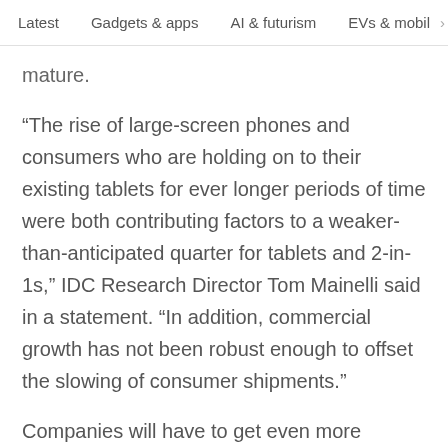Latest   Gadgets & apps   AI & futurism   EVs & mobil  >
mature.
“The rise of large-screen phones and consumers who are holding on to their existing tablets for ever longer periods of time were both contributing factors to a weaker-than-anticipated quarter for tablets and 2-in-1s,” IDC Research Director Tom Mainelli said in a statement. “In addition, commercial growth has not been robust enough to offset the slowing of consumer shipments.”
Companies will have to get even more vicious to win over consumers this year. As we’ve noted before, the push for cheaper and cheaper devices with more and more features will likely push some players